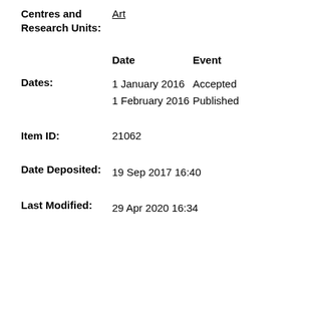Centres and Research Units: Art
| Date | Event |
| --- | --- |
| 1 January 2016 | Accepted |
| 1 February 2016 | Published |
Dates:
Item ID: 21062
Date Deposited: 19 Sep 2017 16:40
Last Modified: 29 Apr 2020 16:34